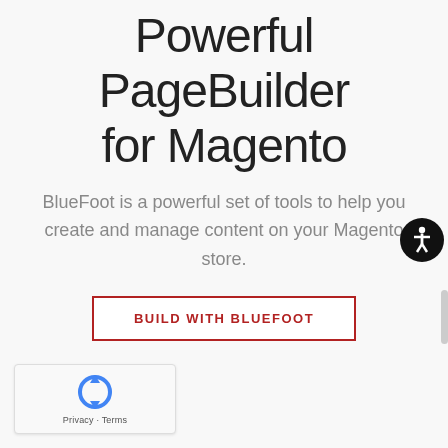Powerful PageBuilder for Magento
BlueFoot is a powerful set of tools to help you create and manage content on your Magento store.
BUILD WITH BLUEFOOT
[Figure (logo): reCAPTCHA widget with spinning arrows logo and Privacy - Terms text]
[Figure (illustration): Accessibility icon — dark circle with white person figure]